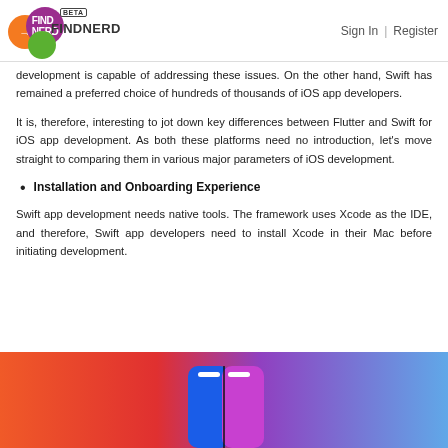FINDNERD BETA | Sign In | Register
development is capable of addressing these issues. On the other hand, Swift has remained a preferred choice of hundreds of thousands of iOS app developers.
It is, therefore, interesting to jot down key differences between Flutter and Swift for iOS app development. As both these platforms need no introduction, let's move straight to comparing them in various major parameters of iOS development.
Installation and Onboarding Experience
Swift app development needs native tools. The framework uses Xcode as the IDE, and therefore, Swift app developers need to install Xcode in their Mac before initiating development.
[Figure (illustration): Split-screen phone mockup with gradient background — left half blue (Swift/iOS), right half purple (Flutter), with orange-to-red gradient on left side and blue on right side of background.]